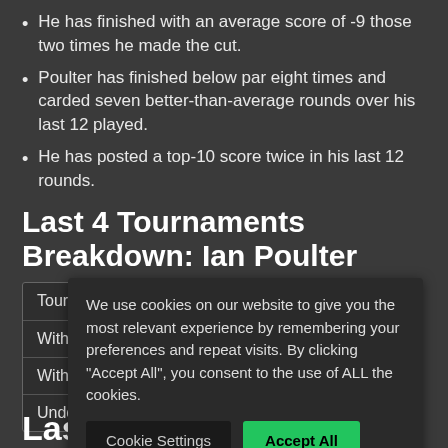He has finished with an average score of -9 those two times he made the cut.
Poulter has finished below par eight times and carded seven better-than-average rounds over his last 12 played.
He has posted a top-10 score twice in his last 12 rounds.
Last 4 Tournaments Breakdown: Ian Poulter
| Tournaments | 4 |
| --- | --- |
| Within 3 Shots |  |
| Within 5 Shots |  |
| Under AVG |  |
We use cookies on our website to give you the most relevant experience by remembering your preferences and repeat visits. By clicking “Accept All”, you consent to the use of ALL the cookies.
Last Time Out